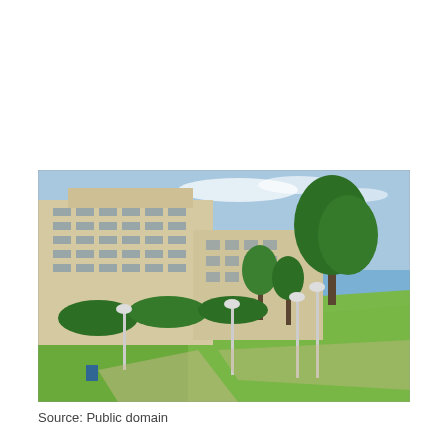[Figure (photo): Exterior photograph of a multi-story academic or government building with beige/tan concrete facade, rows of horizontal windows, surrounded by green lawn, trees, and lamp posts under a partly cloudy blue sky.]
Source: Public domain